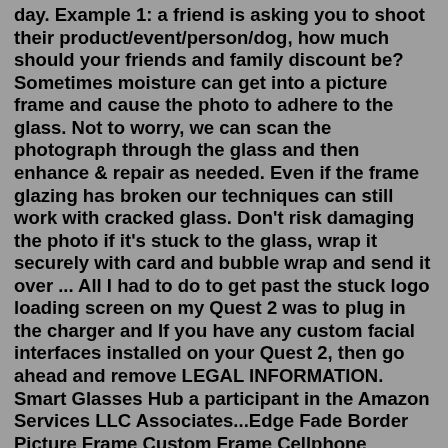day. Example 1: a friend is asking you to shoot their product/event/person/dog, how much should your friends and family discount be?Sometimes moisture can get into a picture frame and cause the photo to adhere to the glass. Not to worry, we can scan the photograph through the glass and then enhance & repair as needed. Even if the frame glazing has broken our techniques can still work with cracked glass. Don't risk damaging the photo if it's stuck to the glass, wrap it securely with card and bubble wrap and send it over ... All I had to do to get past the stuck logo loading screen on my Quest 2 was to plug in the charger and If you have any custom facial interfaces installed on your Quest 2, then go ahead and remove LEGAL INFORMATION. Smart Glasses Hub a participant in the Amazon Services LLC Associates...Edge Fade Border Picture Frame Custom Frame Cellphone Picture Film Strip Polaroid Taped Photo Vignette Beveled Edge Glass Button Dollar Bill Snow Flake Border Christmas Bulb.Sometimes